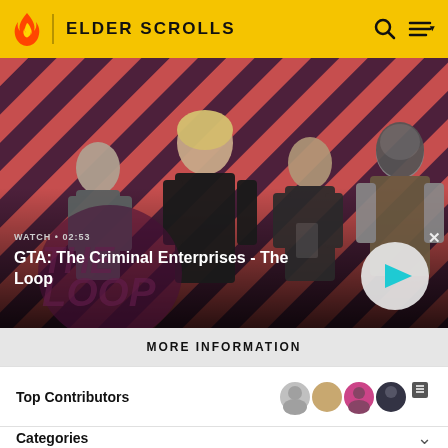ELDER SCROLLS
[Figure (screenshot): GTA: The Criminal Enterprises - The Loop promotional video thumbnail showing four characters against a red diagonal striped background. A play button is visible. Text reads WATCH • 02:53 and GTA: The Criminal Enterprises - The Loop.]
MORE INFORMATION
Top Contributors
Categories